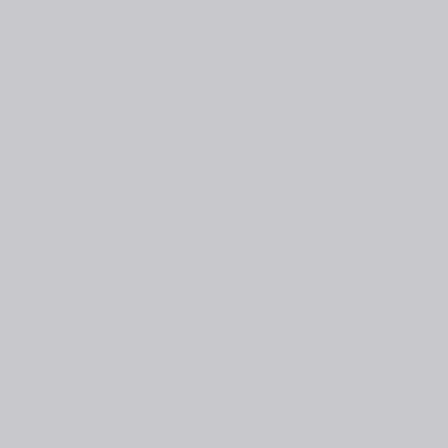to we no ac an sh wa pre su he wo no kn Sh sm to he as sh